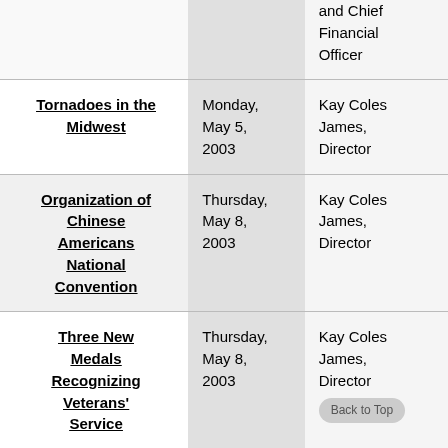| Event | Date | Speaker |
| --- | --- | --- |
| and Chief Financial Officer |  |  |
| Tornadoes in the Midwest | Monday, May 5, 2003 | Kay Coles James, Director |
| Organization of Chinese Americans National Convention | Thursday, May 8, 2003 | Kay Coles James, Director |
| Three New Medals Recognizing Veterans' Service | Thursday, May 8, 2003 | Kay Coles James, Director |